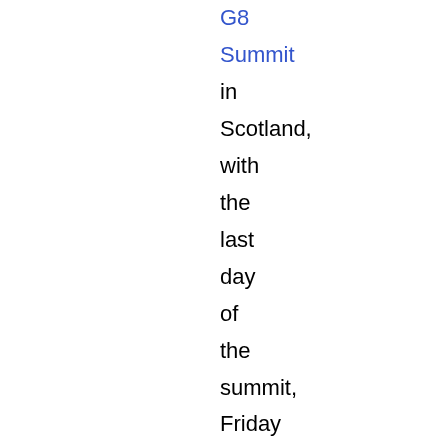G8 Summit in Scotland, with the last day of the summit, Friday 8th July, set aside as an International Day of Action Against Climate Change [draft call]